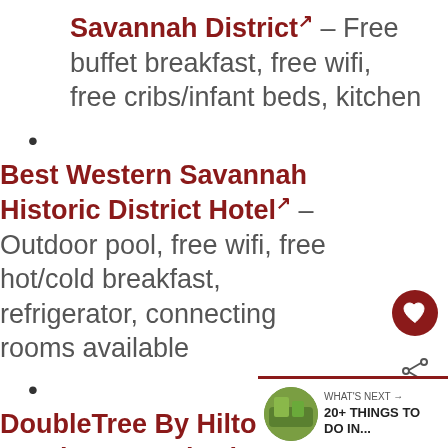Savannah District↗ – Free buffet breakfast, free wifi, free cribs/infant beds, kitchen
Best Western Savannah Historic District Hotel↗ – Outdoor pool, free wifi, free hot/cold breakfast, refrigerator, connecting rooms available
DoubleTree By Hilton Hotel Savannah Historic District – DoubleTrees always get a